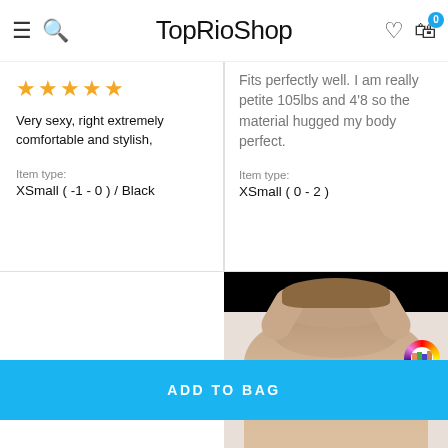TopRioShop
Very sexy, right extremely comfortable and stylish,
Item type: XSmall (-1-0) / Black
Fits perfectly well. I am really petite 105lbs and 4'8 so the material hugged my body perfect.
Item type: XSmall (0-2)
[Figure (photo): Photo of a person from behind with arms raised, on a white background, with a colorful circular badge overlay in the top right.]
ADD TO BAG